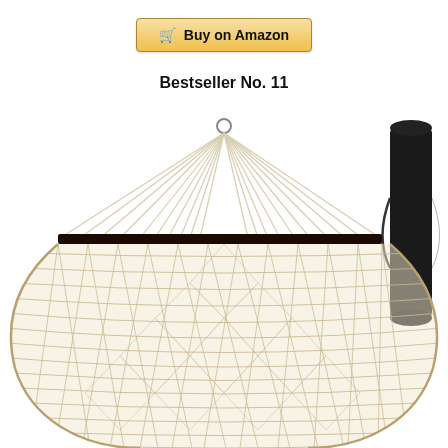[Figure (other): Buy on Amazon button with shopping cart icon, gold/yellow gradient background]
Bestseller No. 11
[Figure (photo): A cream/natural colored rope hammock with a dark wooden spreader bar. The hammock is photographed from the top showing the gathered rope strands meeting at a metal ring at the top, then spreading across the spreader bar and forming a wide woven net mesh below. A black storage bag with a handle is visible on the right side of the image.]